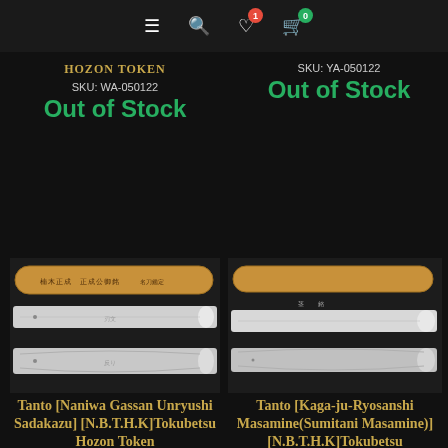Navigation bar with menu, search, wishlist (1), cart (0)
HOZON TOKEN
SKU: WA-050122
Out of Stock
SKU: YA-050122
Out of Stock
[Figure (photo): Japanese tanto blade shown in two views with wooden saya]
Tanto [Naniwa Gassan Unryushi Sadakazu] [N.B.T.H.K]Tokubetsu Hozon Token
[Figure (photo): Japanese tanto blade shown with wooden saya]
Tanto [Kaga-ju-Ryosanshi Masamine(Sumitani Masamine)] [N.B.T.H.K]Tokubetsu